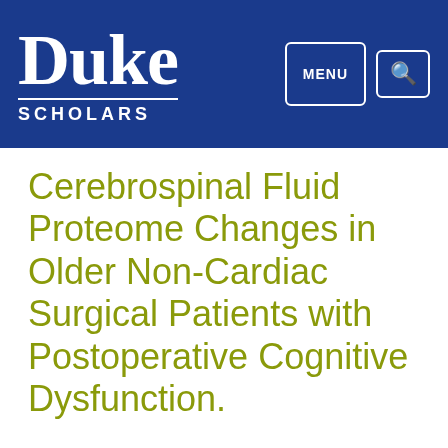Duke Scholars
Cerebrospinal Fluid Proteome Changes in Older Non-Cardiac Surgical Patients with Postoperative Cognitive Dysfunction.